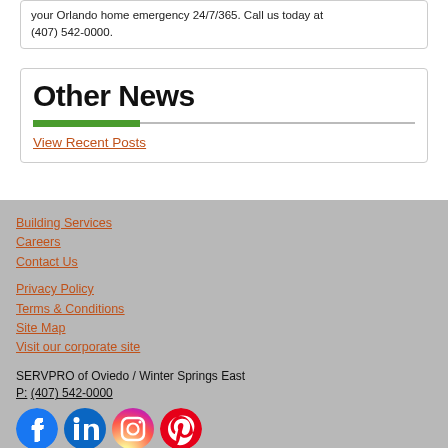your Orlando home emergency 24/7/365. Call us today at (407) 542-0000.
Other News
View Recent Posts
Building Services
Careers
Contact Us
Privacy Policy
Terms & Conditions
Site Map
Visit our corporate site
SERVPRO of Oviedo / Winter Springs East
P: (407) 542-0000
[Figure (other): Social media icons for Facebook, LinkedIn, Instagram, Pinterest]
© Servpro Industries, LLC. – All services in the U.S. performed by independently owned and operated franchises of Servpro Industries, LLC.
© Servpro Industries (Canada) ULC – All services in Canada performed by independently owned and operated franchises of Servpro Industries (Canada) ULC.